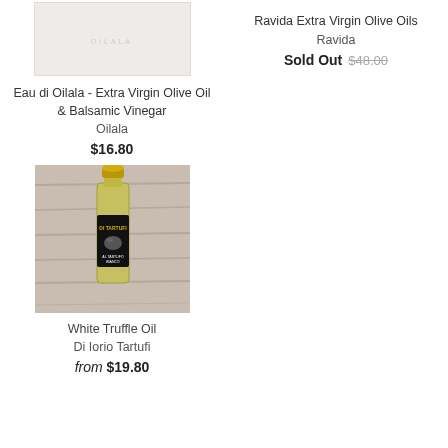[Figure (photo): White/light gray product box for Eau di Oilala olive oil and balsamic vinegar set]
Eau di Oilala - Extra Virgin Olive Oil & Balsamic Vinegar
Oilala
$16.80
Ravida Extra Virgin Olive Oils
Ravida
Sold Out $48.00
[Figure (photo): Small bottle of White Truffle Oil by Di Iorio Tartufi with black label and gold cap, on wooden background]
White Truffle Oil
Di Iorio Tartufi
from $19.80